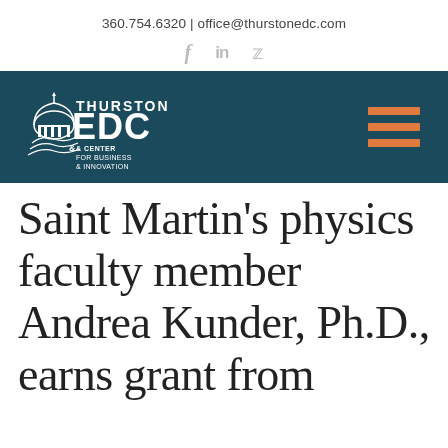360.754.6320 | office@thurstonedc.com
[Figure (logo): Thurston EDC Center for Business & Innovation logo — white text and icon on dark teal background, with social media icons (f, in, twitter bird) above]
Saint Martin’s physics faculty member Andrea Kunder, Ph.D., earns grant from